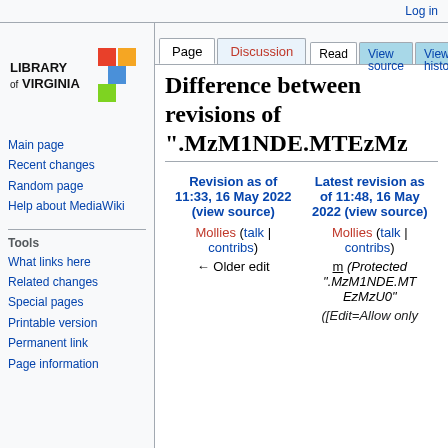Log in
[Figure (logo): Library of Virginia logo with colorful geometric shapes and text 'LIBRARY of VIRGINIA']
Main page
Recent changes
Random page
Help about MediaWiki
Tools
What links here
Related changes
Special pages
Printable version
Permanent link
Page information
Difference between revisions of ".MzM1NDE.MTEzMz..."
| Revision as of 11:33, 16 May 2022 (view source) | Latest revision as of 11:48, 16 May 2022 (view source) |
| --- | --- |
| Mollies (talk | contribs) | Mollies (talk | contribs) |
| ← Older edit | m (Protected ".MzM1NDE.MTEzMzU0" ([Edit=Allow only... |